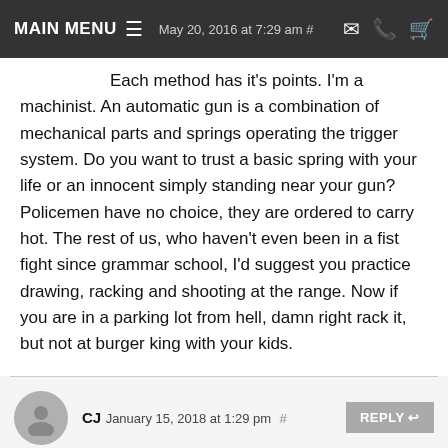MAIN MENU  May 20, 2016 at 7:29 am
Each method has it's points. I'm a machinist. An automatic gun is a combination of mechanical parts and springs operating the trigger system. Do you want to trust a basic spring with your life or an innocent simply standing near your gun? Policemen have no choice, they are ordered to carry hot. The rest of us, who haven't even been in a fist fight since grammar school, I'd suggest you practice drawing, racking and shooting at the range. Now if you are in a parking lot from hell, damn right rack it, but not at burger king with your kids.
CJ  January 15, 2018 at 1:29 pm #
Wow. I may have slightly agreed with that a decade ago, but surely not today. Seems every